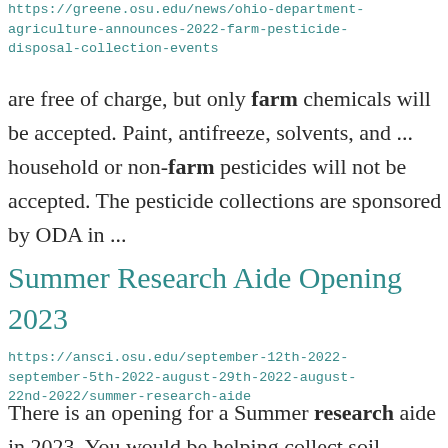https://greene.osu.edu/news/ohio-department-agriculture-announces-2022-farm-pesticide-disposal-collection-events
are free of charge, but only farm chemicals will be accepted. Paint, antifreeze, solvents, and ... household or non-farm pesticides will not be accepted. The pesticide collections are sponsored by ODA in ...
Summer Research Aide Opening 2023
https://ansci.osu.edu/september-12th-2022-september-5th-2022-august-29th-2022-august-22nd-2022/summer-research-aide
There is an opening for a Summer research aide in 2023. You would be helping collect soil, manure...